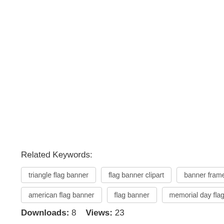Related Keywords:
triangle flag banner
flag banner clipart
banner frame
american flag banner
flag banner
memorial day flag
Downloads: 8    Views: 23